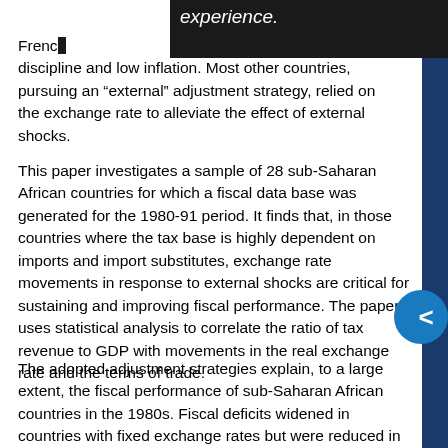experience. French discipline and low inflation. Most other countries, pursuing an “external” adjustment strategy, relied on the exchange rate to alleviate the effect of external shocks.
This paper investigates a sample of 28 sub-Saharan African countries for which a fiscal data base was generated for the 1980-91 period. It finds that, in those countries where the tax base is highly dependent on imports and import substitutes, exchange rate movements in response to external shocks are critical for sustaining and improving fiscal performance. The paper uses statistical analysis to correlate the ratio of tax revenue to GDP with movements in the real exchange rate and the terms of trade.
The adopted adjustment strategies explain, to a large extent, the fiscal performance of sub-Saharan African countries in the 1980s. Fiscal deficits widened in countries with fixed exchange rates but were reduced in countries with variable exchange rates. Other